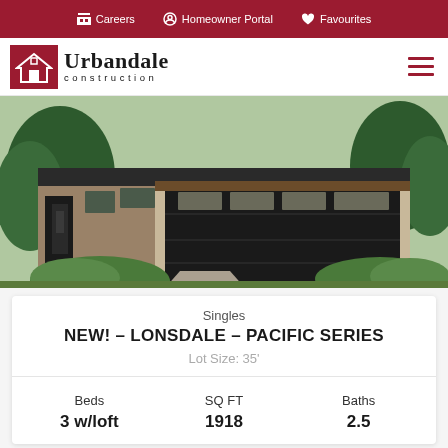Careers  Homeowner Portal  Favourites
[Figure (logo): Urbandale Construction logo with house icon on red background]
[Figure (photo): Modern single-family home exterior rendering showing dark garage door, brick facade, and landscaping]
Singles
NEW! – LONSDALE – PACIFIC SERIES
Lot Size: 35'
| Beds | SQ FT | Baths |
| --- | --- | --- |
| 3 w/loft | 1918 | 2.5 |